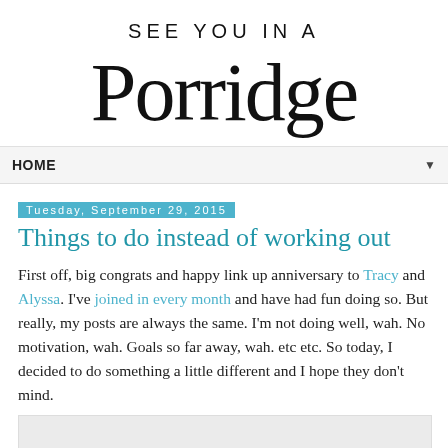[Figure (logo): Blog logo: 'SEE YOU IN A Porridge' in decorative mixed-case serif and sans-serif lettering]
HOME ▼
Tuesday, September 29, 2015
Things to do instead of working out
First off, big congrats and happy link up anniversary to Tracy and Alyssa. I've joined in every month and have had fun doing so. But really, my posts are always the same. I'm not doing well, wah. No motivation, wah. Goals so far away, wah. etc etc. So today, I decided to do something a little different and I hope they don't mind.
[Figure (other): Partial image at bottom of page, light gray/beige background visible]